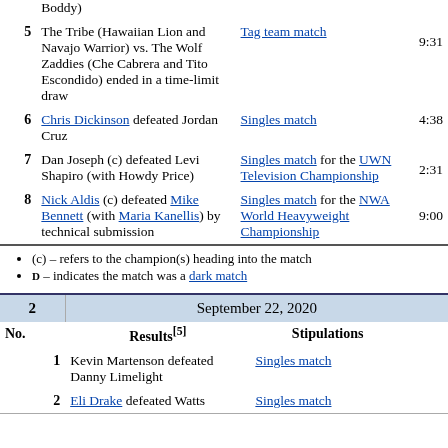| No. | Results | Stipulations | Time |
| --- | --- | --- | --- |
| 5 | The Tribe (Hawaiian Lion and Navajo Warrior) vs. The Wolf Zaddies (Che Cabrera and Tito Escondido) ended in a time-limit draw | Tag team match | 9:31 |
| 6 | Chris Dickinson defeated Jordan Cruz | Singles match | 4:38 |
| 7 | Dan Joseph (c) defeated Levi Shapiro (with Howdy Price) | Singles match for the UWN Television Championship | 2:31 |
| 8 | Nick Aldis (c) defeated Mike Bennett (with Maria Kanellis) by technical submission | Singles match for the NWA World Heavyweight Championship | 9:00 |
(c) – refers to the champion(s) heading into the match
D – indicates the match was a dark match
| 2 | September 22, 2020 |
| --- | --- |
| No. | Results[5] | Stipulations |  |
| 1 | Kevin Martenson defeated Danny Limelight | Singles match |  |
| 2 | Eli Drake defeated Watts | Singles match |  |